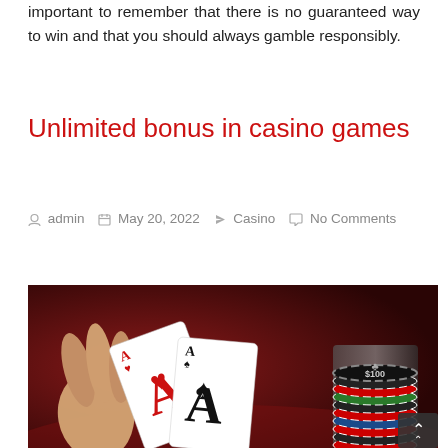important to remember that there is no guaranteed way to win and that you should always gamble responsibly.
Unlimited bonus in casino games
admin  May 20, 2022  Casino  No Comments
[Figure (photo): A hand holding two Ace playing cards (Ace of hearts and Ace of spades) in front of a dark red background, with a large stack of casino chips on the right side.]